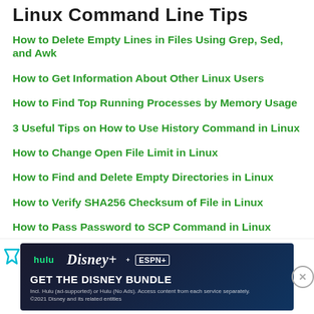Linux Command Line Tips
How to Delete Empty Lines in Files Using Grep, Sed, and Awk
How to Get Information About Other Linux Users
How to Find Top Running Processes by Memory Usage
3 Useful Tips on How to Use History Command in Linux
How to Change Open File Limit in Linux
How to Find and Delete Empty Directories in Linux
How to Verify SHA256 Checksum of File in Linux
How to Pass Password to SCP Command in Linux
How to Extract Email Addresses from Text File in Linux
How to Clear Apt Cache in Debian, Ubuntu and Linux Mint
[Figure (screenshot): Advertisement banner for Disney Bundle (Hulu, Disney+, ESPN+) with blue background and 'GET THE DISNEY BUNDLE' call to action button]